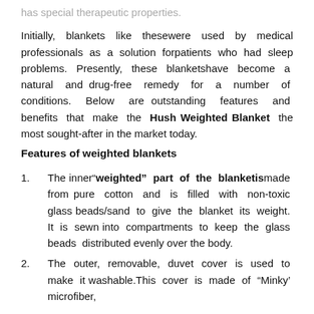has special therapeutic properties.
Initially, blankets like thesewere used by medical professionals as a solution forpatients who had sleep problems. Presently, these blanketshave become a natural and drug-free remedy for a number of conditions. Below are outstanding features and benefits that make the Hush Weighted Blanket the most sought-after in the market today.
Features of weighted blankets
The inner“weighted” part of the blanketismade from pure cotton and is filled with non-toxic glass beads/sand to give the blanket its weight. It is sewn into compartments to keep the glass beads distributed evenly over the body.
The outer, removable, duvet cover is used to make it washable.This cover is made of “Minky’ microfiber,